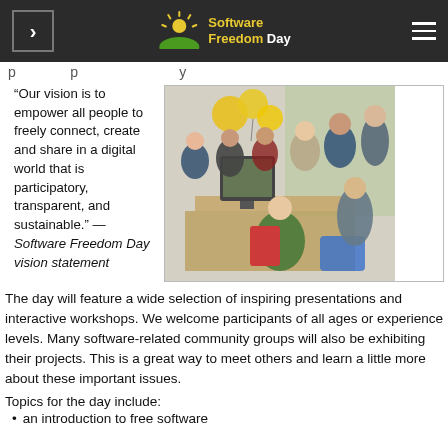Software Freedom Day
p … y (partial, cut off)
“Our vision is to empower all people to freely connect, create and share in a digital world that is participatory, transparent, and sustainable.” — Software Freedom Day vision statement
[Figure (photo): Group of people gathered around computers on tables with yellow balloons in the background, at a Software Freedom Day event.]
The day will feature a wide selection of inspiring presentations and interactive workshops. We welcome participants of all ages or experience levels. Many software-related community groups will also be exhibiting their projects. This is a great way to meet others and learn a little more about these important issues.
Topics for the day include:
an introduction to free software